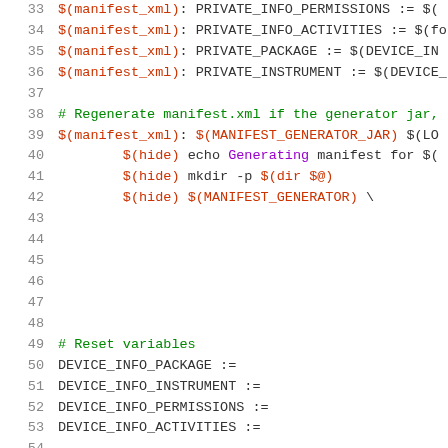33  $(manifest_xml): PRIVATE_INFO_PERMISSIONS := $(
34  $(manifest_xml): PRIVATE_INFO_ACTIVITIES := $(fo
35  $(manifest_xml): PRIVATE_PACKAGE := $(DEVICE_IN
36  $(manifest_xml): PRIVATE_INSTRUMENT := $(DEVICE_
37
38  # Regenerate manifest.xml if the generator jar,
39  $(manifest_xml): $(MANIFEST_GENERATOR_JAR) $(LO
40          $(hide) echo Generating manifest for $(
41          $(hide) mkdir -p $(dir $@)
42          $(hide) $(MANIFEST_GENERATOR) \
43
44
45
46
47
48
49  # Reset variables
50  DEVICE_INFO_PACKAGE :=
51  DEVICE_INFO_INSTRUMENT :=
52  DEVICE_INFO_PERMISSIONS :=
53  DEVICE_INFO_ACTIVITIES :=
54